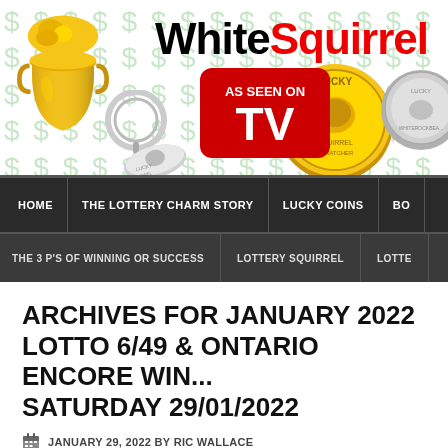[Figure (logo): WhiteSquirrel website header banner with gold pot of coins, keyring Lucky Squirrel Scratcher coin, AS SEEN ON TV badge, Lucky Squirrel Scratcher gold coin, and silver coin. Dollar signs in light green background. Site name 'WhiteSquirrel' in black and red text.]
HOME | THE LOTTERY CHARM STORY | LUCKY COINS | BO...
THE 3 P'S OF WINNING OR SUCCESS | LOTTERY SQUIRREL | LOTTE...
ARCHIVES FOR JANUARY 2022 LOTTO 6/49 & ONTARIO ENCORE WIN... SATURDAY 29/01/2022
JANUARY 29, 2022 BY RIC WALLACE
Lotto 6/49 & Ontario Encore Winning Numb...